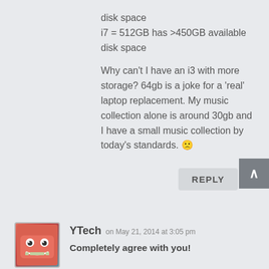disk space
i7 = 512GB has >450GB available disk space
Why can’t I have an i3 with more storage? 64gb is a joke for a ‘real’ laptop replacement. My music collection alone is around 30gb and I have a small music collection by today’s standards. 🙁
REPLY
YTech on May 21, 2014 at 3:05 pm
Completely agree with you!